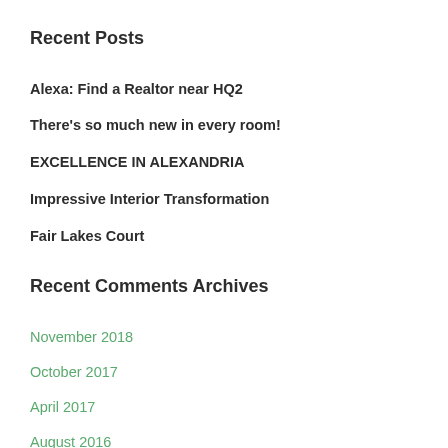Recent Posts
Alexa: Find a Realtor near HQ2
There's so much new in every room!
EXCELLENCE IN ALEXANDRIA
Impressive Interior Transformation
Fair Lakes Court
Recent Comments
Archives
November 2018
October 2017
April 2017
August 2016